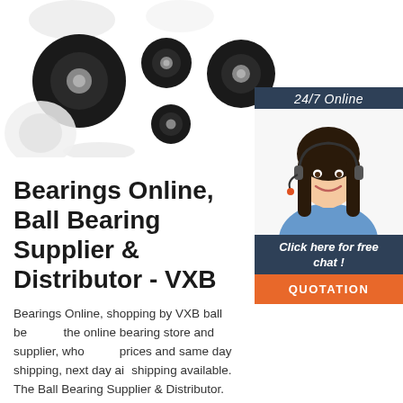[Figure (photo): Product photo showing multiple black rubber-coated ball bearings/wheels of various sizes on a white background]
[Figure (photo): 24/7 Online chat widget showing a smiling female customer service agent wearing a headset, with a dark navy header reading '24/7 Online', italic text 'Click here for free chat!', and an orange QUOTATION button]
Bearings Online, Ball Bearing Supplier & Distributor - VXB
Bearings Online, shopping by VXB ball bearings the online bearing store and supplier, wholesale prices and same day shipping, next day air shipping available. The Ball Bearing Supplier & Distributor. wholesale prices and same day shipping, next day air shipping available.
Get Price